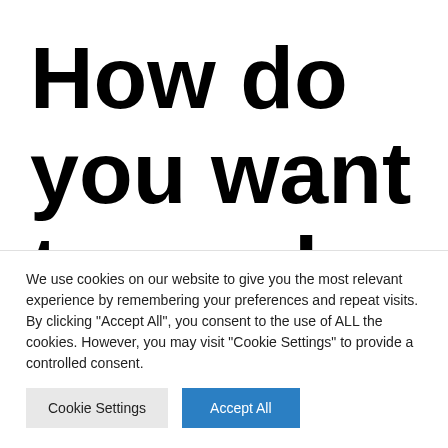How do you want to work with
We use cookies on our website to give you the most relevant experience by remembering your preferences and repeat visits. By clicking "Accept All", you consent to the use of ALL the cookies. However, you may visit "Cookie Settings" to provide a controlled consent.
Cookie Settings | Accept All